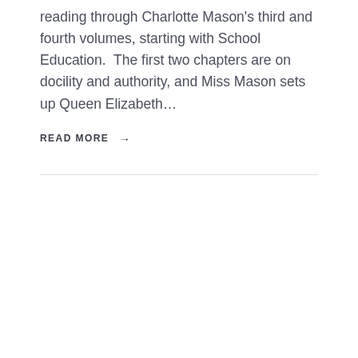reading through Charlotte Mason's third and fourth volumes, starting with School Education.  The first two chapters are on docility and authority, and Miss Mason sets up Queen Elizabeth…
READ MORE →